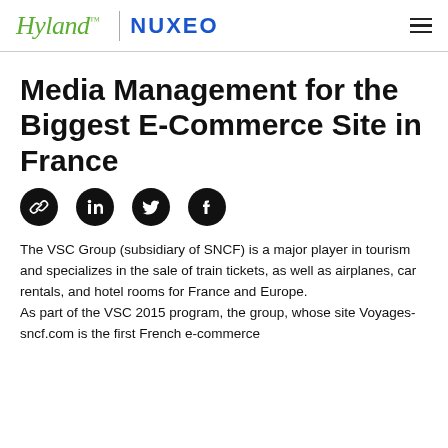Hyland | NUXEO
Media Management for the Biggest E-Commerce Site in France
[Figure (other): Social sharing icons: link/chain, LinkedIn, Twitter, Facebook — circular black buttons]
The VSC Group (subsidiary of SNCF) is a major player in tourism and specializes in the sale of train tickets, as well as airplanes, car rentals, and hotel rooms for France and Europe.
As part of the VSC 2015 program, the group, whose site Voyages-sncf.com is the first French e-commerce